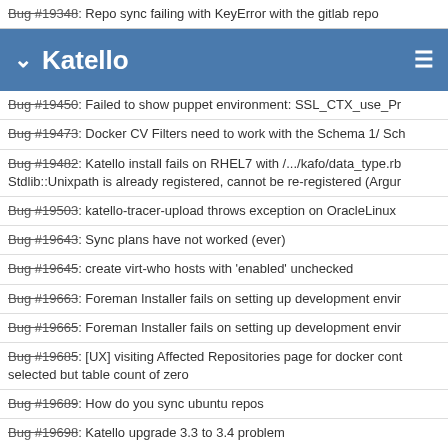Bug #19348: Repo sync failing with KeyError with the gitlab repo
Katello
Bug #19450: Failed to show puppet environment: SSL_CTX_use_Pr
Bug #19473: Docker CV Filters need to work with the Schema 1/ Sch
Bug #19482: Katello install fails on RHEL7 with /.../kafo/data_type.rb Stdlib::Unixpath is already registered, cannot be re-registered (Argur
Bug #19503: katello-tracer-upload throws exception on OracleLinux
Bug #19643: Sync plans have not worked (ever)
Bug #19645: create virt-who hosts with 'enabled' unchecked
Bug #19663: Foreman Installer fails on setting up development envir
Bug #19665: Foreman Installer fails on setting up development envir
Bug #19685: [UX] visiting Affected Repositories page for docker cont selected but table count of zero
Bug #19689: How do you sync ubuntu repos
Bug #19698: Katello upgrade 3.3 to 3.4 problem
Bug #19738: WebUI LifeCycle Environment/Content View/Content Sa actual values
Bug #19746: Error while upgrading Katello Capsule 3.1 to 3.2
Bug #19935: Published Pulp repositories gives SSL alert
Bug #19976: New provisioning machines asking to reboot required
Bug #19982: Docker repository not immediately available on local re